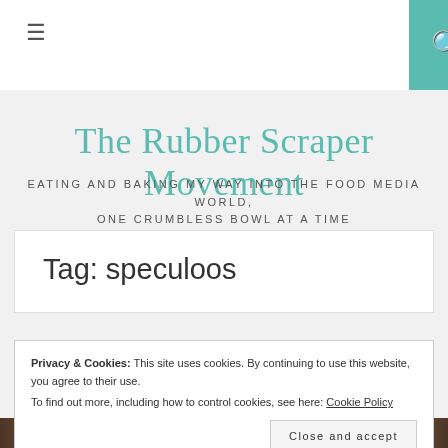≡  🔍
The Rubber Scraper Movement
EATING AND BAKING MY WAY INTO THE FOOD MEDIA WORLD, ONE CRUMBLESS BOWL AT A TIME
Tag: speculoos
Privacy & Cookies: This site uses cookies. By continuing to use this website, you agree to their use.
To find out more, including how to control cookies, see here: Cookie Policy

Close and accept
[Figure (photo): Food photo strip at bottom of page showing baked goods]